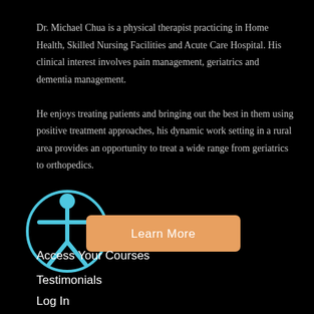Dr. Michael Chua is a physical therapist practicing in Home Health, Skilled Nursing Facilities and Acute Care Hospital. His clinical interest involves pain management, geriatrics and dementia management.

He enjoys treating patients and bringing out the best in them using positive treatment approaches, his dynamic work setting in a rural area provides an opportunity to treat a wide range from geriatrics to orthopedics.
[Figure (illustration): Accessibility icon (person with arms outstretched in a circle) overlapping an orange 'Learn More' button]
Access Your Courses
Testimonials
Log In